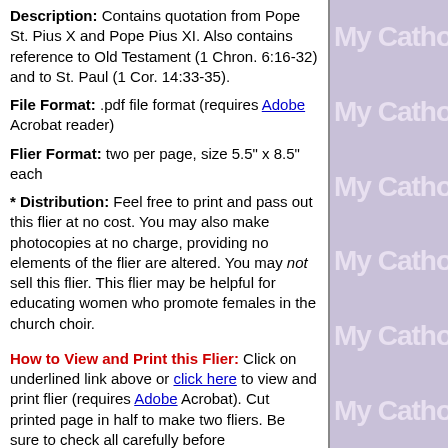Description: Contains quotation from Pope St. Pius X and Pope Pius XI. Also contains reference to Old Testament (1 Chron. 6:16-32) and to St. Paul (1 Cor. 14:33-35).
File Format: .pdf file format (requires Adobe Acrobat reader)
Flier Format: two per page, size 5.5" x 8.5" each
* Distribution: Feel free to print and pass out this flier at no cost. You may also make photocopies at no charge, providing no elements of the flier are altered. You may not sell this flier. This flier may be helpful for educating women who promote females in the church choir.
How to View and Print this Flier: Click on underlined link above or click here to view and print flier (requires Adobe Acrobat). Cut printed page in half to make two fliers. Be sure to check all carefully before distribution/use.
Scroll up/down for more fliers